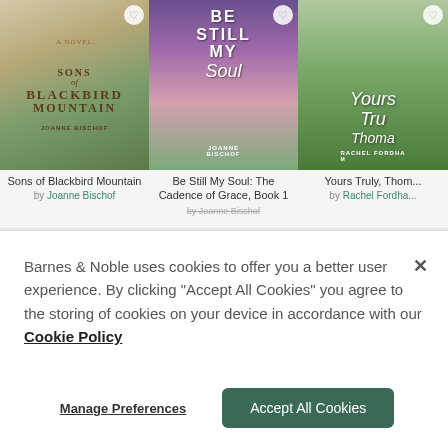[Figure (screenshot): Book cover: Sons of Blackbird Mountain by Joanne Bischof, illustrated cover with green and golden tones]
[Figure (screenshot): Book cover: Be Still My Soul: The Cadence of Grace Book 1 by Joanne Bischof, purple/lavender tones with woman in period dress]
[Figure (screenshot): Book cover: Yours Truly, Thomas by Rachel Fordham, green tones with woman in Victorian dress]
Sons of Blackbird Mountain
by Joanne Bischof
Be Still My Soul: The Cadence of Grace, Book 1
by Joanne Bischof
Yours Truly, Thomas
by Rachel Fordham
Barnes & Noble uses cookies to offer you a better user experience. By clicking "Accept All Cookies" you agree to the storing of cookies on your device in accordance with our Cookie Policy
Manage Preferences
Accept All Cookies